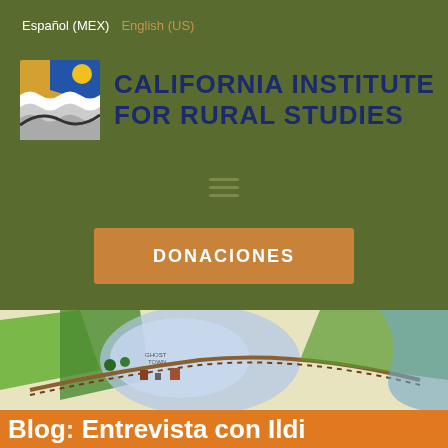Español (MEX)   English (US)
[Figure (logo): California Institute for Rural Studies logo with stylized landscape and text]
[Figure (infographic): Hamburger menu icon (three horizontal lines)]
DONACIONES
[Figure (illustration): Hand-drawn map illustration with colorful fields, roads, and waterways. Map drawn by Katie Bachler: katiabachler@gmail.com]
Blog: Entrevista con Ildi